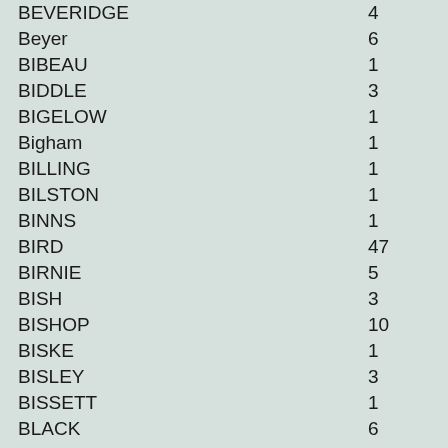| Name | Count |
| --- | --- |
| BEVERIDGE | 4 |
| Beyer | 6 |
| BIBEAU | 1 |
| BIDDLE | 3 |
| BIGELOW | 1 |
| Bigham | 1 |
| BILLING | 1 |
| BILSTON | 1 |
| BINNS | 1 |
| BIRD | 47 |
| BIRNIE | 5 |
| BISH | 3 |
| BISHOP | 10 |
| BISKE | 1 |
| BISLEY | 3 |
| BISSETT | 1 |
| BLACK | 6 |
| BLACK (LIVING, FEMALE) | 1 |
| BLACKBEE | 1 |
| BLACKBERRY | 2 |
| Blackborne | 1 |
| BLACKER | 4 |
| BLACKHALL | 2 |